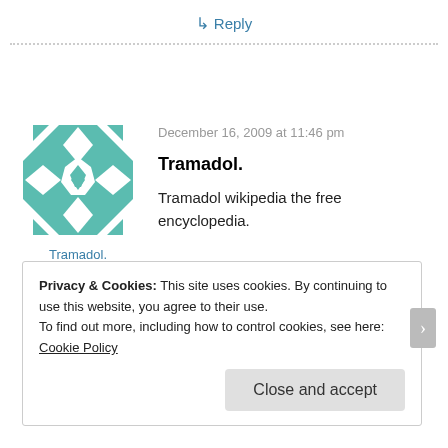↳ Reply
[Figure (illustration): Teal/green geometric quilt pattern avatar image]
Tramadol.
December 16, 2009 at 11:46 pm
Tramadol.
Tramadol wikipedia the free encyclopedia.
Privacy & Cookies: This site uses cookies. By continuing to use this website, you agree to their use.
To find out more, including how to control cookies, see here: Cookie Policy
Close and accept